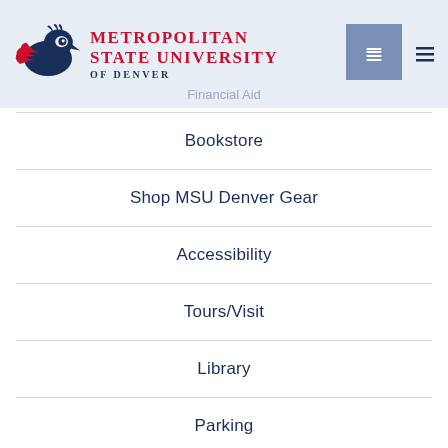[Figure (logo): Metropolitan State University of Denver logo with roadrunner bird mascot and university name]
Financial Aid
Bookstore
Shop MSU Denver Gear
Accessibility
Tours/Visit
Library
Parking
Careers